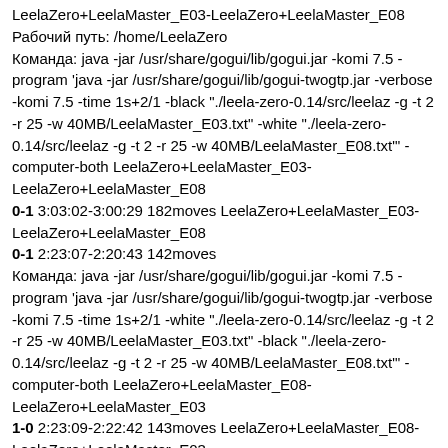LeelaZero+LeelaMaster_E03-LeelaZero+LeelaMaster_E08
Рабочий путь: /home/LeelaZero
Команда: java -jar /usr/share/gogui/lib/gogui.jar -komi 7.5 -program 'java -jar /usr/share/gogui/lib/gogui-twogtp.jar -verbose -komi 7.5 -time 1s+2/1 -black "./leela-zero-0.14/src/leelaz -g -t 2 -r 25 -w 40MB/LeelaMaster_E03.txt" -white "./leela-zero-0.14/src/leelaz -g -t 2 -r 25 -w 40MB/LeelaMaster_E08.txt"' -computer-both LeelaZero+LeelaMaster_E03-LeelaZero+LeelaMaster_E08
0-1 3:03:02-3:00:29 182moves LeelaZero+LeelaMaster_E03-LeelaZero+LeelaMaster_E08
0-1 2:23:07-2:20:43 142moves
Команда: java -jar /usr/share/gogui/lib/gogui.jar -komi 7.5 -program 'java -jar /usr/share/gogui/lib/gogui-twogtp.jar -verbose -komi 7.5 -time 1s+2/1 -white "./leela-zero-0.14/src/leelaz -g -t 2 -r 25 -w 40MB/LeelaMaster_E03.txt" -black "./leela-zero-0.14/src/leelaz -g -t 2 -r 25 -w 40MB/LeelaMaster_E08.txt"' -computer-both LeelaZero+LeelaMaster_E08-LeelaZero+LeelaMaster_E03
1-0 2:23:09-2:22:42 143moves LeelaZero+LeelaMaster_E08-LeelaZero+LeelaMaster_E03
1-0 2:27:09-2:26:45 147moves